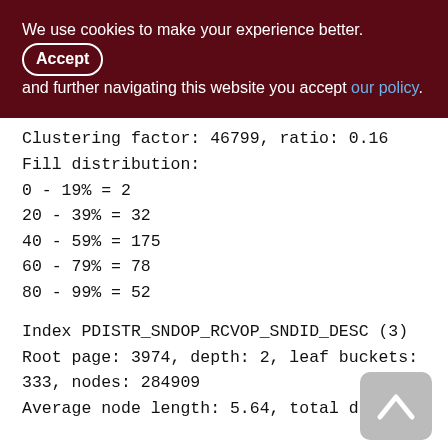We use cookies to make your experience better. By accepting and further navigating this website you accept our policy.
Clustering factor: 46799, ratio: 0.16
Fill distribution:
0 - 19% = 2
20 - 39% = 32
40 - 59% = 175
60 - 79% = 78
80 - 99% = 52
Index PDISTR_SNDOP_RCVOP_SNDID_DESC (3)
Root page: 3974, depth: 2, leaf buckets: 333, nodes: 284909
Average node length: 5.64, total dup: